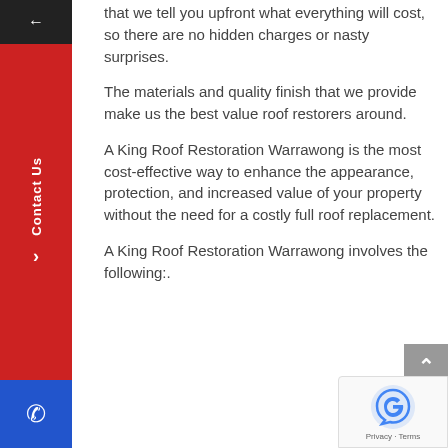that we tell you upfront what everything will cost, so there are no hidden charges or nasty surprises.
The materials and quality finish that we provide make us the best value roof restorers around.
A King Roof Restoration Warrawong is the most cost-effective way to enhance the appearance, protection, and increased value of your property without the need for a costly full roof replacement.
A King Roof Restoration Warrawong involves the following:.